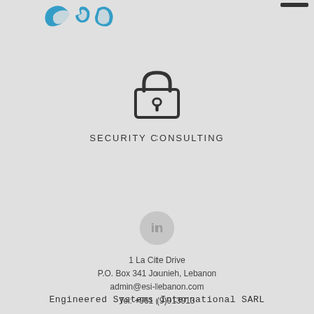[Figure (logo): ESI company logo in blue with 'esi' text, partially visible at top left. A dark bar/line visible at top right.]
[Figure (illustration): Padlock icon outline in dark color, centered on page]
SECURITY CONSULTING
[Figure (logo): LinkedIn logo icon in light gray, circle with 'in' text]
1 La Cite Drive
P.O. Box 341 Jounieh, Lebanon
admin@esi-lebanon.com
Tel: +961 (9)913913
Engineered Systems International SARL